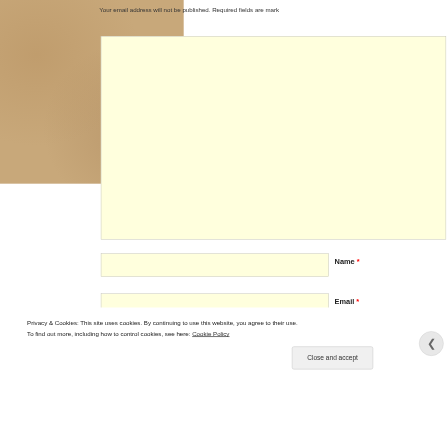Your email address will not be published. Required fields are mark
[Figure (screenshot): Light yellow comment/text area input box]
Name *
[Figure (screenshot): Light yellow name input field]
Email *
[Figure (screenshot): Light yellow email input field]
Privacy & Cookies: This site uses cookies. By continuing to use this website, you agree to their use.
To find out more, including how to control cookies, see here: Cookie Policy
Close and accept